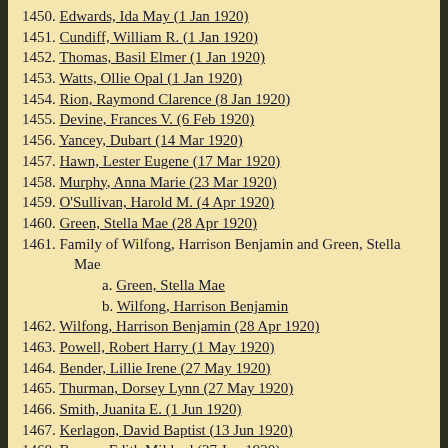1450. Edwards, Ida May (1 Jan 1920)
1451. Cundiff, William R. (1 Jan 1920)
1452. Thomas, Basil Elmer (1 Jan 1920)
1453. Watts, Ollie Opal (1 Jan 1920)
1454. Rion, Raymond Clarence (8 Jan 1920)
1455. Devine, Frances V. (6 Feb 1920)
1456. Yancey, Dubart (14 Mar 1920)
1457. Hawn, Lester Eugene (17 Mar 1920)
1458. Murphy, Anna Marie (23 Mar 1920)
1459. O'Sullivan, Harold M. (4 Apr 1920)
1460. Green, Stella Mae (28 Apr 1920)
1461. Family of Wilfong, Harrison Benjamin and Green, Stella Mae
  a. Green, Stella Mae
  b. Wilfong, Harrison Benjamin
1462. Wilfong, Harrison Benjamin (28 Apr 1920)
1463. Powell, Robert Harry (1 May 1920)
1464. Bender, Lillie Irene (27 May 1920)
1465. Thurman, Dorsey Lynn (27 May 1920)
1466. Smith, Juanita E. (1 Jun 1920)
1467. Kerlagon, David Baptist (13 Jun 1920)
1468. Barnes, Edith Mildred (27 Jun 1920)
1469. Thomure, Vera Mae (22 Jul 1920)
1470. Donoho, John Orville (25 Aug 1920)
1471. Family of Donoho, John Orville and McDaniel, Dena I.